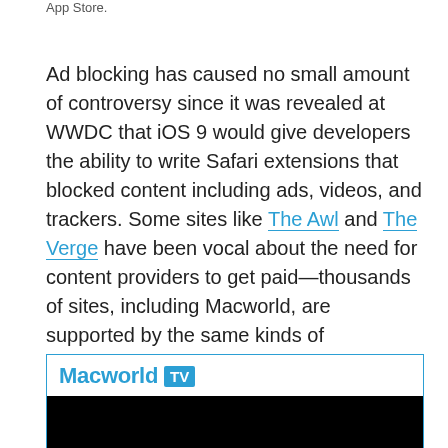App Store.
Ad blocking has caused no small amount of controversy since it was revealed at WWDC that iOS 9 would give developers the ability to write Safari extensions that blocked content including ads, videos, and trackers. Some sites like The Awl and The Verge have been vocal about the need for content providers to get paid—thousands of sites, including Macworld, are supported by the same kinds of advertising that these extensions are designed to block.
[Figure (other): Macworld TV embedded video player box with cyan border, header showing 'Macworld TV' logo with TV badge, and black video area below]